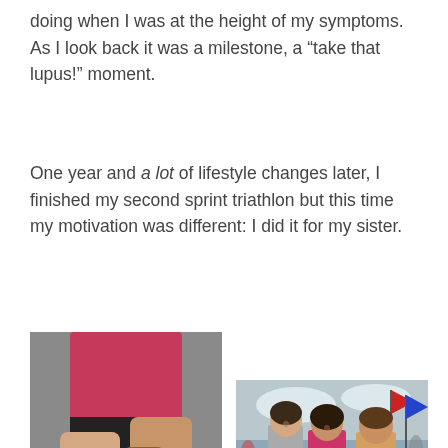doing when I was at the height of my symptoms.  As I look back it was a milestone, a “take that lupus!” moment.
One year and a lot of lifestyle changes later, I finished my second sprint triathlon but this time my motivation was different: I did it for my sister.
[Figure (photo): Close-up photo of two wrists showing race bracelets, a purple fitness tracker, and a GPS sports watch, worn by a person in a pink top and black shorts, outdoors.]
[Figure (photo): Photo of three people smiling and posing outdoors at a triathlon event near a body of water with flags and other participants in the background. Two women and one shirtless man.]